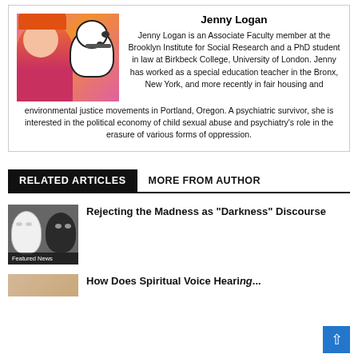[Figure (photo): Colorful photo of a woman with red/orange hair against a bright pink background, with an illustrated dalmatian dog]
Jenny Logan
Jenny Logan is an Associate Faculty member at the Brooklyn Institute for Social Research and a PhD student in law at Birkbeck College, University of London. Jenny has worked as a special education teacher in the Bronx, New York, and more recently in fair housing and environmental justice movements in Portland, Oregon. A psychiatric survivor, she is interested in the political economy of child sexual abuse and psychiatry's role in the erasure of various forms of oppression.
RELATED ARTICLES
MORE FROM AUTHOR
[Figure (photo): Black and white image of two faces — one white mask and one dark face — side by side]
Featured News
Rejecting the Madness as “Darkness” Discourse
[Figure (photo): Partial thumbnail of a second article, tan/beige toned image]
How Does Spiritual Voice Hearing...